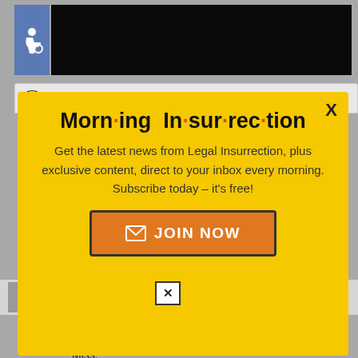[Figure (screenshot): Top area with disability icon and black banner]
💬 6 Comments 🏷 Iran
Morn·ing In·sur·rec·tion
Get the latest news from Legal Insurrection, plus exclusive content, direct to your inbox every morning. Subscribe today – it's free!
JOIN NOW
david7134 in reply to Valerie. back to top
Working from home? Get your projects done on fiverr
Miss,